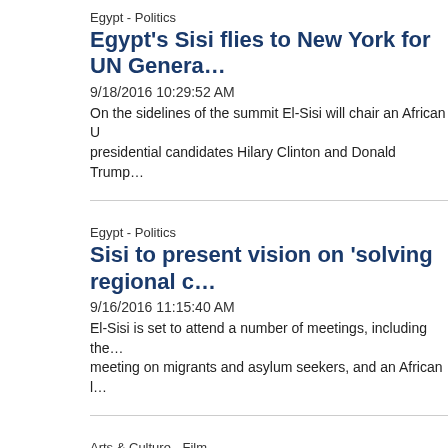Egypt - Politics
Egypt's Sisi flies to New York for UN Genera…
9/18/2016 10:29:52 AM
On the sidelines of the summit El-Sisi will chair an African U… presidential candidates Hilary Clinton and Donald Trump…
Egypt - Politics
Sisi to present vision on 'solving regional c…
9/16/2016 11:15:40 AM
El-Sisi is set to attend a number of meetings, including the… meeting on migrants and asylum seekers, and an African l…
Arts & Culture - Film
'We are at a turning point in history': DiCap… 'Before the Flood' in Toronto
9/10/2016 8:26:20 PM